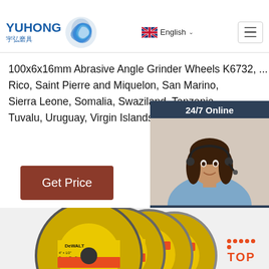YUHONG 宇弘磨具 | English | Navigation
100x6x16mm Abrasive Angle Grinder Wheels K6732, ... Rico, Saint Pierre and Miquelon, San Marino, Sierra Leone, Somalia, Swaziland, Tanzania, Tuvalu, Uruguay, Virgin Islands (U.S.), Wallis
Get Price
[Figure (photo): Customer service representative with headset, 24/7 Online chat widget with QUOTATION button]
[Figure (photo): DeWalt abrasive flap disc angle grinder wheels, yellow and black branding, multiple discs fanned out]